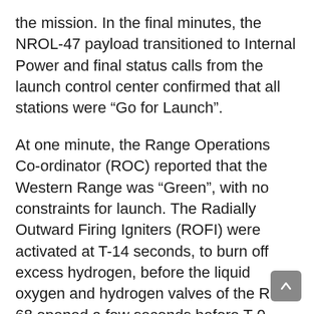the mission. In the final minutes, the NROL-47 payload transitioned to Internal Power and final status calls from the launch control center confirmed that all stations were “Go for Launch”.
At one minute, the Range Operations Co-ordinator (ROC) reported that the Western Range was “Green”, with no constraints for launch. The Radially Outward Firing Igniters (ROFI) were activated at T-14 seconds, to burn off excess hydrogen, before the liquid oxygen and hydrogen valves of the RS-68 opened a few seconds before T-0.
The Aerojet Rocketdyne-built engine thundered to life, reaching its Full Thrust level, before the Launch Commit was issued at T-0 and the twin GEM-60s